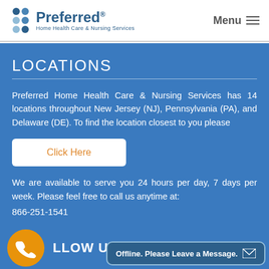Preferred Home Health Care & Nursing Services — Menu
LOCATIONS
Preferred Home Health Care & Nursing Services has 14 locations throughout New Jersey (NJ), Pennsylvania (PA), and Delaware (DE). To find the location closest to you please
Click Here
We are available to serve you 24 hours per day, 7 days per week. Please feel free to call us anytime at:
866-251-1541
LLOW US
Offline. Please Leave a Message.